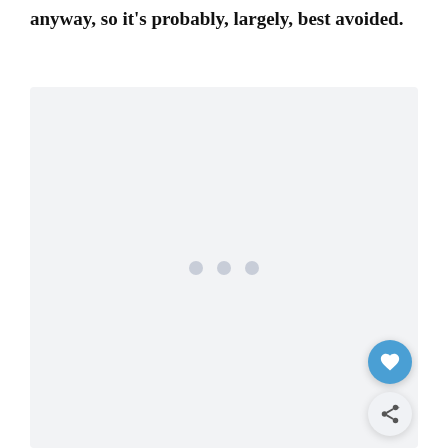anyway, so it's probably, largely, best avoided.
[Figure (other): Large placeholder image area with light gray background and three gray dots centered, with a heart favorite button (blue circle) and a share button (light circle) in the bottom-right corner]